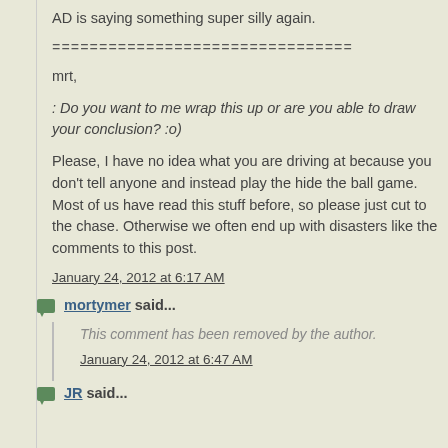AD is saying something super silly again.
================================
mrt,
: Do you want to me wrap this up or are you able to draw your conclusion? :o)
Please, I have no idea what you are driving at because you don't tell anyone and instead play the hide the ball game. Most of us have read this stuff before, so please just cut to the chase. Otherwise we often end up with disasters like the comments to this post.
January 24, 2012 at 6:17 AM
mortymer said...
This comment has been removed by the author.
January 24, 2012 at 6:47 AM
JR said...